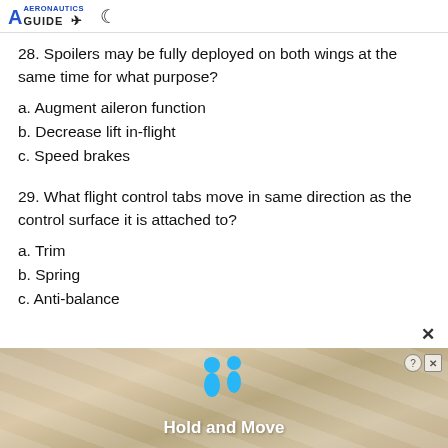AERONAUTICS GUIDE
28. Spoilers may be fully deployed on both wings at the same time for what purpose?
a. Augment aileron function
b. Decrease lift in-flight
c. Speed brakes
29. What flight control tabs move in same direction as the control surface it is attached to?
a. Trim
b. Spring
c. Anti-balance
[Figure (illustration): Advertisement banner showing 'Hold and Move' with cartoon figures and decorative background]